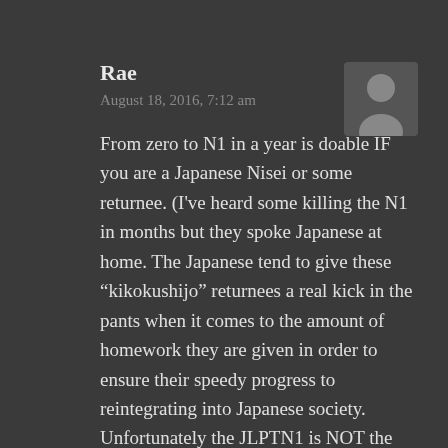Rae
August 18, 2016, 7:12 am
[Figure (illustration): Generic user avatar silhouette icon, grey tones]
From zero to N1 in a year is doable IF you are a Japanese Nisei or some returnee. (I've heard some killing the N1 in months but they spoke Japanese at home. The Japanese tend to give these “kikokushijo” returnees a real kick in the pants when it comes to the amount of homework they are given in order to ensure their speedy progress to reintegrating into Japanese society. Unfortunately the JLPTN1 is NOT the end goal. They are given the Kanji Kentei N2, and the Nihongo Kentei N2 instead if they are Japanese citizens as many Japanese businesses and schools do not recognize the JLPT test scores for them. I told them how it is nice that I do not have to actually learn